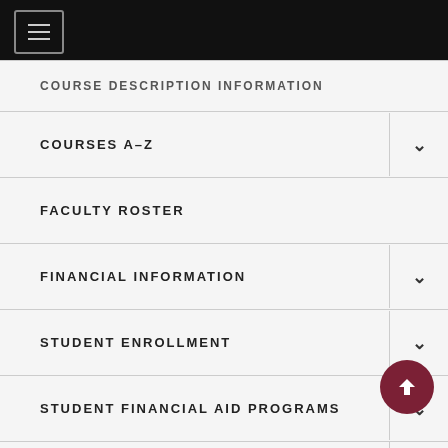[Figure (screenshot): Navigation menu icon (hamburger) in top black bar]
COURSE DESCRIPTION INFORMATION
COURSES A-Z
FACULTY ROSTER
FINANCIAL INFORMATION
STUDENT ENROLLMENT
STUDENT FINANCIAL AID PROGRAMS
STUDENT RESOURCES AND SERVICES